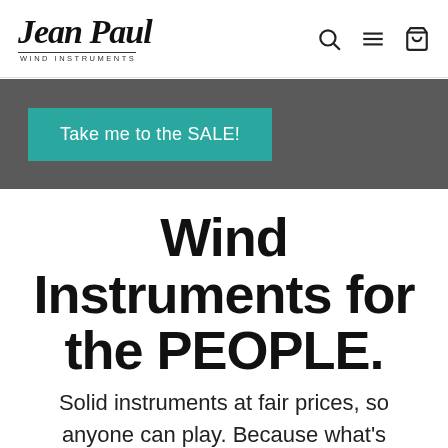Jean Paul WIND INSTRUMENTS
Take me to the SALE!
Wind Instruments for the PEOPLE.
Solid instruments at fair prices, so anyone can play. Because what's music without everyone being able